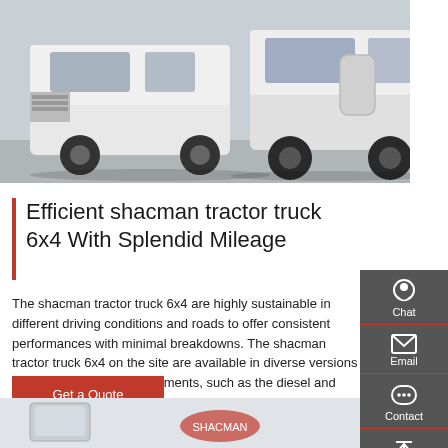[Figure (photo): White Shacman tractor trucks parked in a row on a concrete surface, front/side view showing cab and engine area without trailers]
Efficient shacman tractor truck 6x4 With Splendid Mileage
The shacman tractor truck 6x4 are highly sustainable in different driving conditions and roads to offer consistent performances with minimal breakdowns. The shacman tractor truck 6x4 on the site are available in diverse versions depending on your requirements, such as the diesel and gasoline types based on the models you opt for.
[Figure (infographic): Dark grey sidebar with four icons: Chat (headset icon), Email (envelope icon), Contact (speech bubble icon), Top (up arrow icon), each separated by a red line]
Get a Quote
[Figure (photo): Partial view of truck mirrors and logo at the bottom of the page]